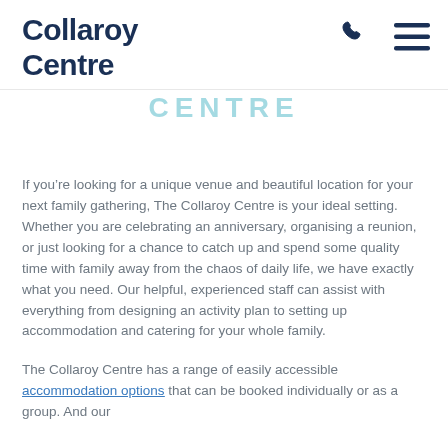Collaroy Centre
CENTRE
If you’re looking for a unique venue and beautiful location for your next family gathering, The Collaroy Centre is your ideal setting. Whether you are celebrating an anniversary, organising a reunion, or just looking for a chance to catch up and spend some quality time with family away from the chaos of daily life, we have exactly what you need. Our helpful, experienced staff can assist with everything from designing an activity plan to setting up accommodation and catering for your whole family.
The Collaroy Centre has a range of easily accessible accommodation options that can be booked individually or as a group. And our